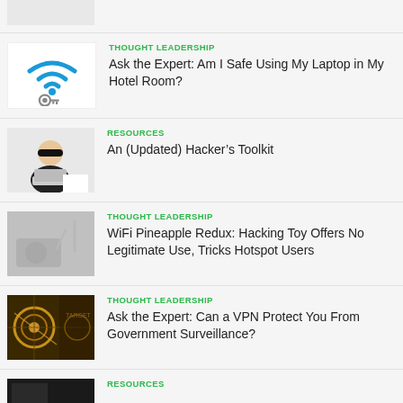[Figure (illustration): Partial image visible at top of page, light gray/white tones]
THOUGHT LEADERSHIP
Ask the Expert: Am I Safe Using My Laptop in My Hotel Room?
RESOURCES
An (Updated) Hacker’s Toolkit
THOUGHT LEADERSHIP
WiFi Pineapple Redux: Hacking Toy Offers No Legitimate Use, Tricks Hotspot Users
THOUGHT LEADERSHIP
Ask the Expert: Can a VPN Protect You From Government Surveillance?
RESOURCES